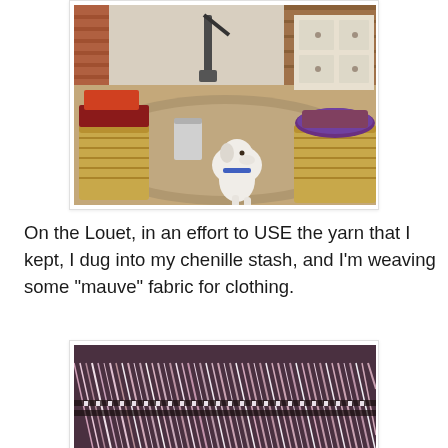[Figure (photo): A white dog sitting on a rug in a living room, surrounded by wicker baskets and colorful fabric. A vacuum cleaner and dresser are visible in the background.]
On the Louet, in an effort to USE the yarn that I kept, I dug into my chenille stash, and I'm weaving some "mauve" fabric for clothing.
[Figure (photo): Close-up of a loom with mauve/pink chenille yarn threads stretched across it, showing the weaving in progress.]